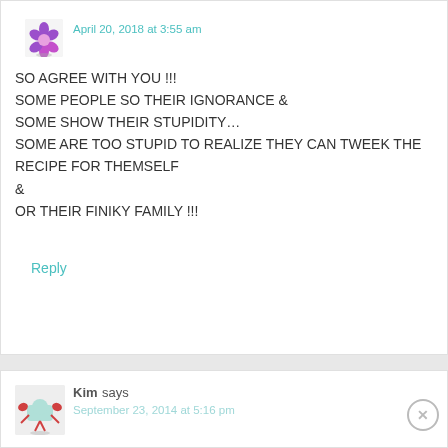April 20, 2018 at 3:55 am
SO AGREE WITH YOU !!!
SOME PEOPLE SO THEIR IGNORANCE &
SOME SHOW THEIR STUPIDITY…
SOME ARE TOO STUPID TO REALIZE THEY CAN TWEEK THE RECIPE FOR THEMSELF &
OR THEIR FINIKY FAMILY !!!
Reply
Kim says
September 23, 2014 at 5:16 pm